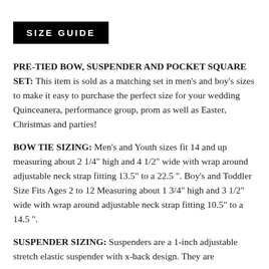SIZE GUIDE
PRE-TIED BOW, SUSPENDER AND POCKET SQUARE SET: This item is sold as a matching set in men's and boy's sizes to make it easy to purchase the perfect size for your wedding Quinceanera, performance group, prom as well as Easter, Christmas and parties!
BOW TIE SIZING: Men’s and Youth sizes fit 14 and up measuring about 2 1/4" high and 4 1/2" wide with wrap around adjustable neck strap fitting 13.5" to a 22.5 ". Boy’s and Toddler Size Fits Ages 2 to 12 Measuring about 1 3/4" high and 3 1/2" wide with wrap around adjustable neck strap fitting 10.5” to a 14.5 ".
SUSPENDER SIZING: Suspenders are a 1-inch adjustable stretch elastic suspender with x-back design. They are